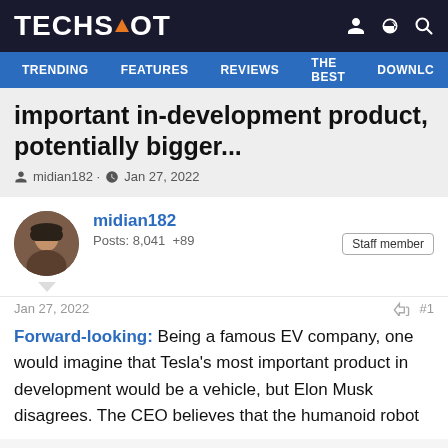TECHSPOT
TRENDING  FEATURES  REVIEWS  THE BEST  DOWNLC
important in-development product, potentially bigger...
midian182 · Jan 27, 2022
midian182
Posts: 8,041  +89
Staff member
Jan 27, 2022  #1
Forward-looking: Being a famous EV company, one would imagine that Tesla's most important product in development would be a vehicle, but Elon Musk disagrees. The CEO believes that the humanoid robot